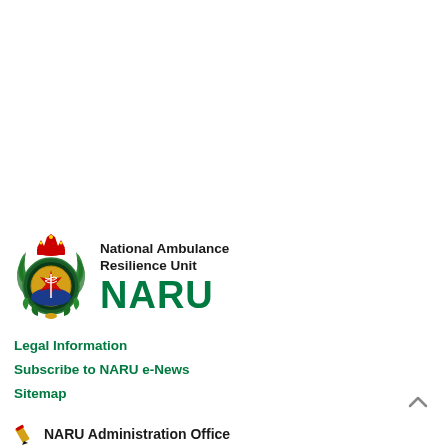[Figure (logo): National Ambulance Resilience Unit (NARU) logo — circular badge with crown, green wreath, and gold star of life emblem, alongside bold text 'National Ambulance Resilience Unit' and large green 'NARU' wordmark]
Legal Information
Subscribe to NARU e-News
Sitemap
NARU Administration Office